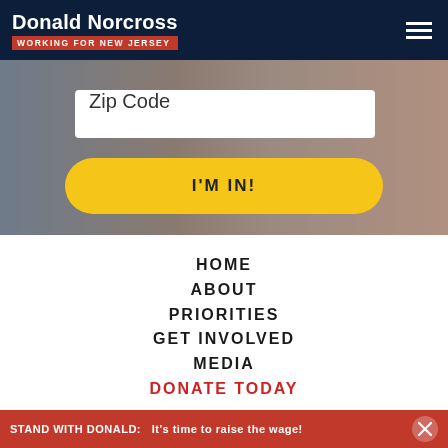[Figure (screenshot): Donald Norcross campaign website screenshot showing header, zip code input, I'm In button, and navigation menu]
Donald Norcross — WORKING FOR NEW JERSEY
Zip Code
I'M IN!
HOME
ABOUT
PRIORITIES
GET INVOLVED
MEDIA
DONATE TODAY
STAND WITH DONALD:   It's time to raise the wage!